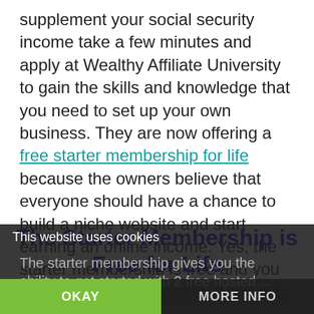supplement your social security income take a few minutes and apply at Wealthy Affiliate University to gain the skills and knowledge that you need to set up your own business. They are now offering a free starter membership for life because the owners believe that everyone should have a chance to build a niche website and start earning an online income. Yes, the starter membership is free and you can have two websites to test it out.
The Starter Membership is Free for Life
This website uses cookies
The starter membership gives you the ability to get started with 2 free hosted ... in tinker with it you